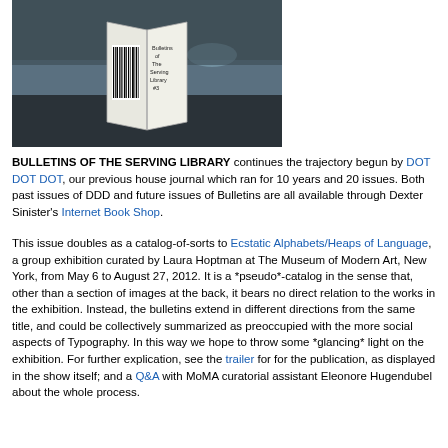[Figure (photo): A photograph showing a book cover or publication with a barcode and text reading 'Bulletins of The Serving Library #3', displayed against a dark blurred background.]
BULLETINS OF THE SERVING LIBRARY continues the trajectory begun by DOT DOT DOT, our previous house journal which ran for 10 years and 20 issues. Both past issues of DDD and future issues of Bulletins are all available through Dexter Sinister's Internet Book Shop.
This issue doubles as a catalog-of-sorts to Ecstatic Alphabets/Heaps of Language, a group exhibition curated by Laura Hoptman at The Museum of Modern Art, New York, from May 6 to August 27, 2012. It is a *pseudo*-catalog in the sense that, other than a section of images at the back, it bears no direct relation to the works in the exhibition. Instead, the bulletins extend in different directions from the same title, and could be collectively summarized as preoccupied with the more social aspects of Typography. In this way we hope to throw some *glancing* light on the exhibition. For further explication, see the trailer for for the publication, as displayed in the show itself; and a Q&A with MoMA curatorial assistant Eleonore Hugendubel about the whole process.